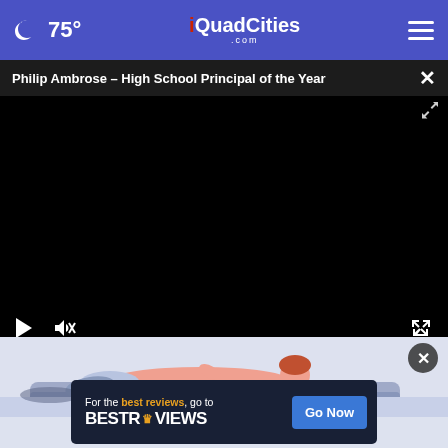75° iQuadCities.com
Philip Ambrose - High School Principal of the Year
[Figure (screenshot): Black video player area with play and mute controls at bottom]
[Figure (illustration): Animated illustration showing person lying down, ad area below with BestReviews advertisement banner]
For the best reviews, go to BESTREVIEWS - Go Now